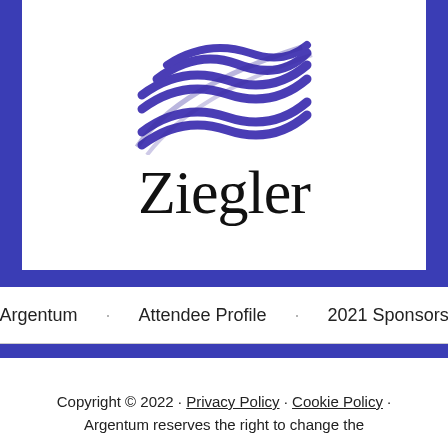[Figure (logo): Ziegler company logo — purple/violet wave/ribbon graphic above the word 'Ziegler' in serif font, displayed in a white box with a dark blue border]
Argentum · Attendee Profile · 2021 Sponsors
Copyright © 2022 · Privacy Policy · Cookie Policy · Argentum reserves the right to change the